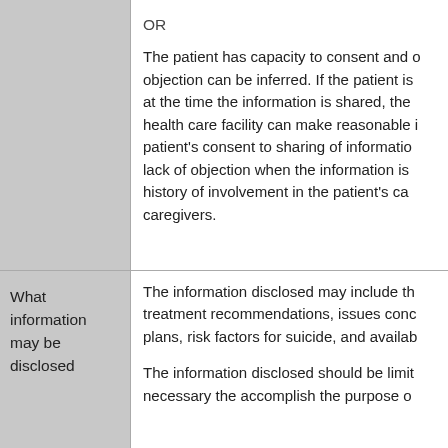|  | OR

The patient has capacity to consent and objection can be inferred. If the patient is at the time the information is shared, the health care facility can make reasonable inferences about patient's consent to sharing of information based on lack of objection when the information is shared or history of involvement in the patient's care by caregivers. |
| What information may be disclosed | The information disclosed may include the treatment recommendations, issues concerning plans, risk factors for suicide, and available resources.

The information disclosed should be limited to necessary the accomplish the purpose of |